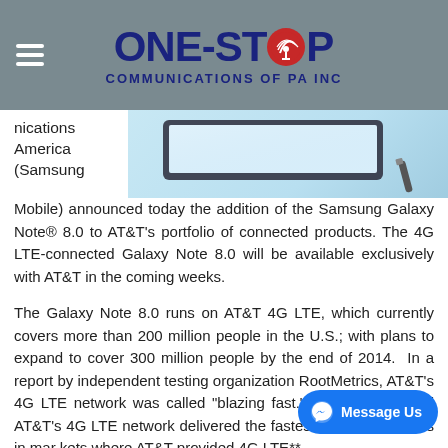[Figure (logo): One-Stop Communications of PA Inc logo with red satellite dish icon replacing the O in STOP, on a grey banner background with hamburger menu icon]
[Figure (photo): Partial image of a Samsung Galaxy Note tablet/device on a light blue background with a stylus pen]
nications America (Samsung Mobile) announced today the addition of the Samsung Galaxy Note® 8.0 to AT&T's portfolio of connected products. The 4G LTE-connected Galaxy Note 8.0 will be available exclusively with AT&T in the coming weeks.
The Galaxy Note 8.0 runs on AT&T 4G LTE, which currently covers more than 200 million people in the U.S.; with plans to expand to cover 300 million people by the end of 2014. In a report by independent testing organization RootMetrics, AT&T's 4G LTE network was called "blazing fast." The report found AT&T's 4G LTE network delivered the fastest pure LTE speeds in markets where AT&T provided 4G LTE**.